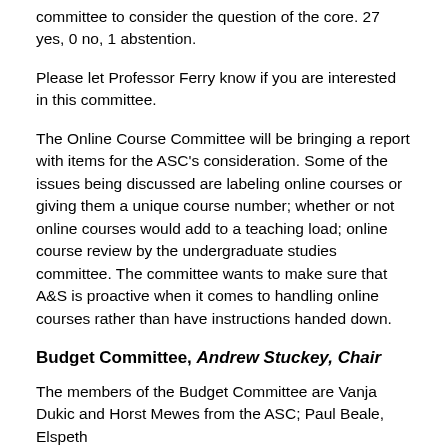committee to consider the question of the core. 27 yes, 0 no, 1 abstention.
Please let Professor Ferry know if you are interested in this committee.
The Online Course Committee will be bringing a report with items for the ASC's consideration. Some of the issues being discussed are labeling online courses or giving them a unique course number; whether or not online courses would add to a teaching load; online course review by the undergraduate studies committee. The committee wants to make sure that A&S is proactive when it comes to handling online courses rather than have instructions handed down.
Budget Committee, Andrew Stuckey, Chair
The members of the Budget Committee are Vanja Dukic and Horst Mewes from the ASC; Paul Beale, Elspeth